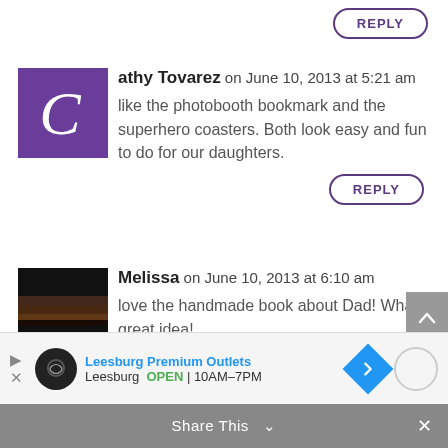REPLY (button, top right)
Cathy Tovarez on June 10, 2013 at 5:21 am
like the photobooth bookmark and the superhero coasters. Both look easy and fun to do for our daughters.
REPLY (button)
Melissa on June 10, 2013 at 6:10 am
love the handmade book about Dad! What a great idea!
[Figure (screenshot): Advertisement for Leesburg Premium Outlets showing logo, name, OPEN 10AM-7PM, and navigation arrow]
Share This ∨  ×